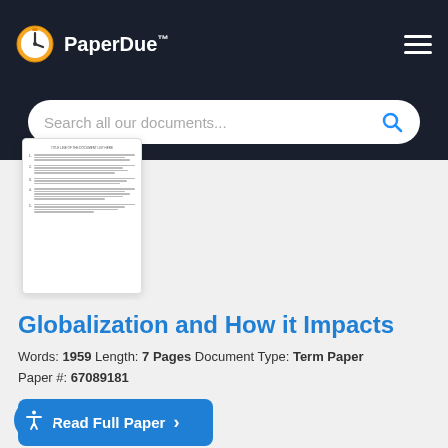PaperDue™
Search all our documents...
[Figure (screenshot): Thumbnail preview of a document page with numbered list items and text lines]
Globalization and How it Impacts
Words: 1959   Length: 7 Pages   Document Type: Term Paper
Paper #: 67089181
Read Full Paper ›